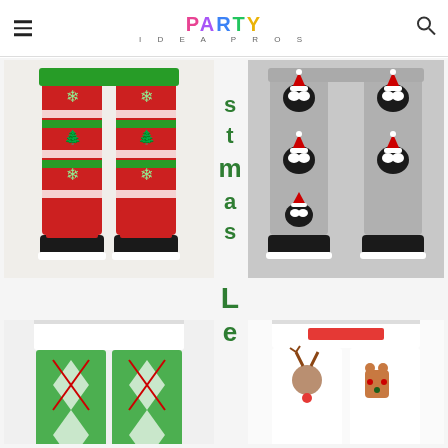PARTY IDEA PROS
[Figure (photo): Red and green Christmas fair isle pattern leggings with snowflakes and trees]
[Figure (photo): Gray leggings with Boston Terrier dogs wearing Santa hats pattern]
stmas Le
[Figure (photo): Christmas argyle pattern leggings in green and red]
[Figure (photo): Christmas themed leggings with holiday characters]